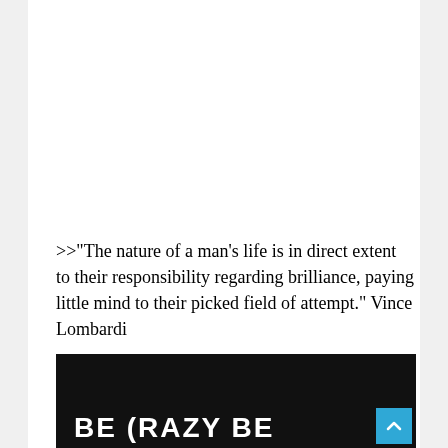>>"The nature of a man's life is in direct extent to their responsibility regarding brilliance, paying little mind to their picked field of attempt." Vince Lombardi
[Figure (photo): Dark/black background image with white handwritten-style graffiti text reading 'BE CRAZY BE' partially visible at the bottom. A scroll-to-top button (blue square with upward chevron) is overlaid at the bottom right.]